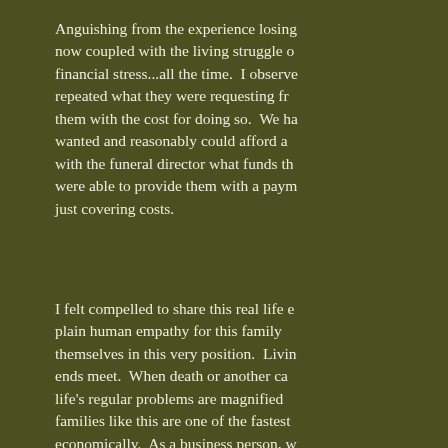Anguishing from the experience losing now coupled with the living struggle of financial stress...all the time. I observed repeated what they were requesting from them with the cost for doing so. We had wanted and reasonably could afford and with the funeral director what funds they were able to provide them with a payment just covering costs.
I felt compelled to share this real life example plain human empathy for this family themselves in this very position. Living ends meet. When death or another catastrophe life's regular problems are magnified families like this are one of the fastest economically. As a business person, we store, gas station, clothing store or picture costs just to keep the doors open and pay